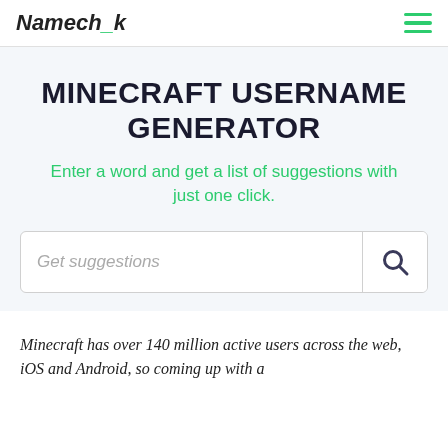Namech_k
MINECRAFT USERNAME GENERATOR
Enter a word and get a list of suggestions with just one click.
Get suggestions
Minecraft has over 140 million active users across the web, iOS and Android, so coming up with a